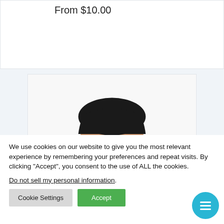From $10.00
[Figure (photo): Headshot of a smiling young man with short dark hair and beard wearing a black shirt, shown from shoulders up against a white background.]
We use cookies on our website to give you the most relevant experience by remembering your preferences and repeat visits. By clicking “Accept”, you consent to the use of ALL the cookies.
Do not sell my personal information.